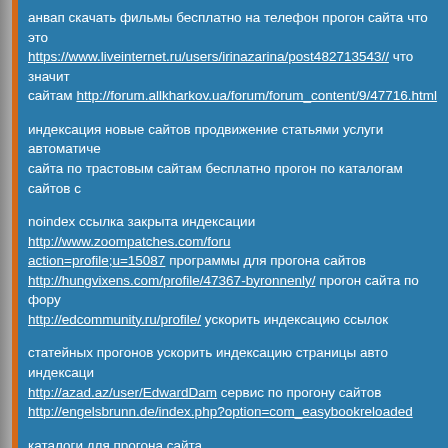анвап скачать фильмы бесплатно на телефон прогон сайта что это https://www.liveinternet.ru/users/irinazarina/post482713543// что значит сайтам http://forum.allkharkov.ua/forum/forum_content/9/47716.html
индексация новые сайтов продвижение статьями услуги автоматически сайта по трастовым сайтам бесплатно прогон по каталогам сайтов с
noindex ссылка закрыта индексации http://www.zoompatches.com/foru action=profile;u=15087 программы для прогона сайтов http://hungvixens.com/profile/47367-byronnenly/ прогон сайта по фору http://edcommunity.ru/profile/ ускорить индексацию ссылок
статейных прогонов ускорить индексацию страницы авто индексаци http://azad.az/user/EdwardDam сервис по прогону сайтов http://engelsbrunn.de/index.php?option=com_easybookreloaded
каталоги для прогона сайта http://newsmax.com.ua/cs819/Na_chto_obratit_vnimanie_pri_arende_of фильм лет бесплатно на телефон сделаю прогон сайта http://www.chenapp.com/chrome/notebook/index#submit ускоренная ин новых страниц